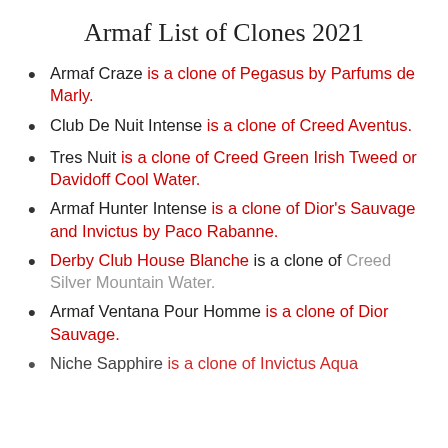Armaf List of Clones 2021
Armaf Craze is a clone of Pegasus by Parfums de Marly.
Club De Nuit Intense is a clone of Creed Aventus.
Tres Nuit is a clone of Creed Green Irish Tweed or Davidoff Cool Water.
Armaf Hunter Intense is a clone of Dior's Sauvage and Invictus by Paco Rabanne.
Derby Club House Blanche is a clone of Creed Silver Mountain Water.
Armaf Ventana Pour Homme is a clone of Dior Sauvage.
Niche Sapphire is a clone of Invictus Aqua...